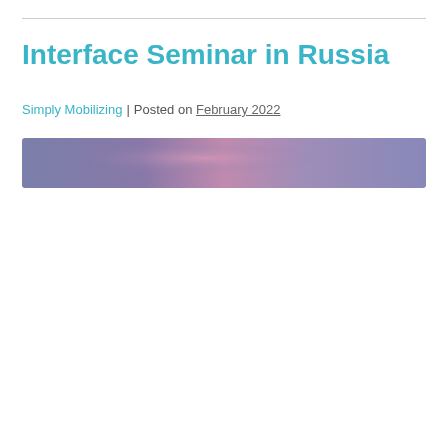Interface Seminar in Russia
Simply Mobilizing | Posted on February 2022
[Figure (photo): A horizontal banner image with a blurred purple and pink gradient background, landscape photo style.]